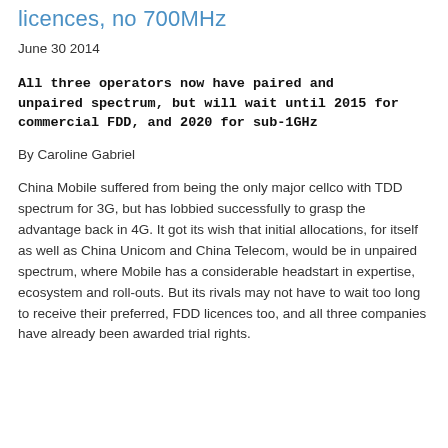licences, no 700MHz
June 30 2014
All three operators now have paired and unpaired spectrum, but will wait until 2015 for commercial FDD, and 2020 for sub-1GHz
By Caroline Gabriel
China Mobile suffered from being the only major cellco with TDD spectrum for 3G, but has lobbied successfully to grasp the advantage back in 4G. It got its wish that initial allocations, for itself as well as China Unicom and China Telecom, would be in unpaired spectrum, where Mobile has a considerable headstart in expertise, ecosystem and roll-outs. But its rivals may not have to wait too long to receive their preferred, FDD licences too, and all three companies have already been awarded trial rights.